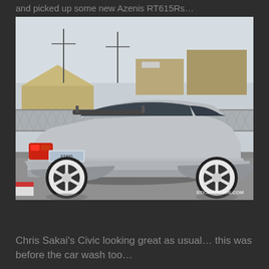and picked up some new Azenis RT615Rs…
[Figure (photo): A silver Honda Civic hatchback (EK generation) with a rear spoiler, wide-body kit, and white aftermarket wheels, photographed from the rear-three-quarter angle in a parking lot. Industrial buildings and a chain-link fence are visible in the background. A watermark reads STICKYDILJOE.COM in the lower right corner.]
Chris Sakai's Civic looking great as usual… this was before the car wash too…